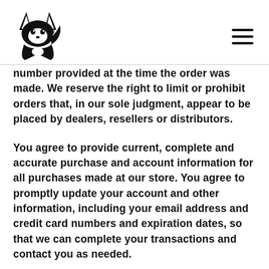[Figure (logo): Black fox logo icon]
number provided at the time the order was made. We reserve the right to limit or prohibit orders that, in our sole judgment, appear to be placed by dealers, resellers or distributors.
You agree to provide current, complete and accurate purchase and account information for all purchases made at our store. You agree to promptly update your account and other information, including your email address and credit card numbers and expiration dates, so that we can complete your transactions and contact you as needed.